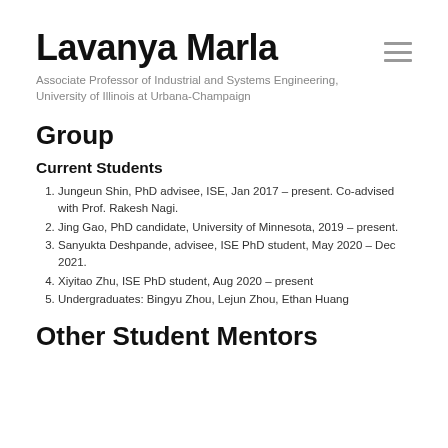Lavanya Marla
Associate Professor of Industrial and Systems Engineering, University of Illinois at Urbana-Champaign
Group
Current Students
Jungeun Shin, PhD advisee, ISE, Jan 2017 – present. Co-advised with Prof. Rakesh Nagi.
Jing Gao, PhD candidate, University of Minnesota, 2019 – present.
Sanyukta Deshpande, advisee, ISE PhD student, May 2020 – Dec 2021.
Xiyitao Zhu, ISE PhD student, Aug 2020 – present
Undergraduates: Bingyu Zhou, Lejun Zhou, Ethan Huang
Other Student Mentors